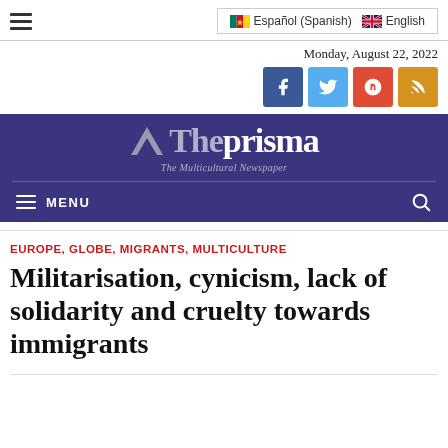≡  Español (Spanish)  🏴󠁧󠁢󠁥󠁮󠁧󠁿 English
Monday, August 22, 2022
[Figure (logo): The Prisma newspaper logo - triangle icon with 'The' in grey and 'prisma' in white on dark purple background, tagline 'The Multicultural Newspaper'. Below is a menu bar with hamburger menu and MENU label, plus search icon.]
EUROPE, GLOBE, MIGRANTS, MULTICULTURE
Militarisation, cynicism, lack of solidarity and cruelty towards immigrants